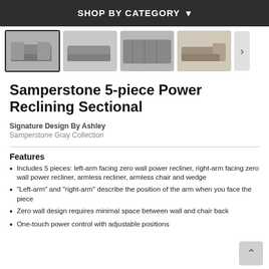SHOP BY CATEGORY
[Figure (photo): Four thumbnail images of the Samperstone 5-piece Power Reclining Sectional from different angles; first image is selected/highlighted]
Samperstone 5-piece Power Reclining Sectional
Signature Design By Ashley
Samperstone Gray Collection
Features
Includes 5 pieces: left-arm facing zero wall power recliner, right-arm facing zero wall power recliner, armless recliner, armless chair and wedge
"Left-arm" and "right-arm" describe the position of the arm when you face the piece
Zero wall design requires minimal space between wall and chair back
One-touch power control with adjustable positions